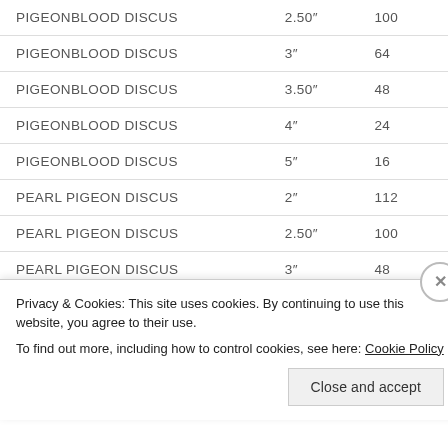| Species | Size | Qty |
| --- | --- | --- |
| PIGEONBLOOD DISCUS | 2.50″ | 100 |
| PIGEONBLOOD DISCUS | 3″ | 64 |
| PIGEONBLOOD DISCUS | 3.50″ | 48 |
| PIGEONBLOOD DISCUS | 4″ | 24 |
| PIGEONBLOOD DISCUS | 5″ | 16 |
| PEARL PIGEON DISCUS | 2″ | 112 |
| PEARL PIGEON DISCUS | 2.50″ | 100 |
| PEARL PIGEON DISCUS | 3″ | 48 |
| PEARL PIGEON DISCUS | 3.5″ | 48 |
| PEARL PIGEON DISCUS | 4″ | 24 |
| PEARL PIGEON DISCUS | 5″ | … |
Privacy & Cookies: This site uses cookies. By continuing to use this website, you agree to their use.
To find out more, including how to control cookies, see here: Cookie Policy